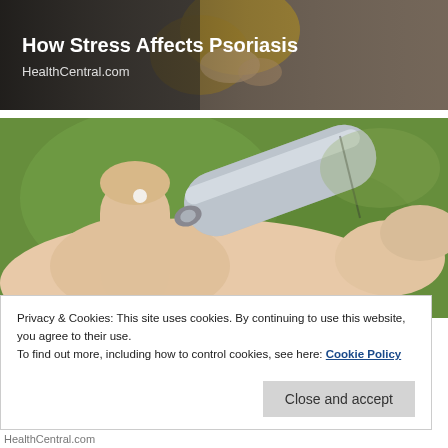[Figure (photo): Top banner image: person in yellow top with hands clasped, with dark overlay. Text overlaid: 'How Stress Affects Psoriasis' and 'HealthCentral.com']
[Figure (photo): Close-up photo of a tube of cream/ointment being applied to a fingertip, with green blurred background]
Privacy & Cookies: This site uses cookies. By continuing to use this website, you agree to their use.
To find out more, including how to control cookies, see here: Cookie Policy
Close and accept
HealthCentral.com